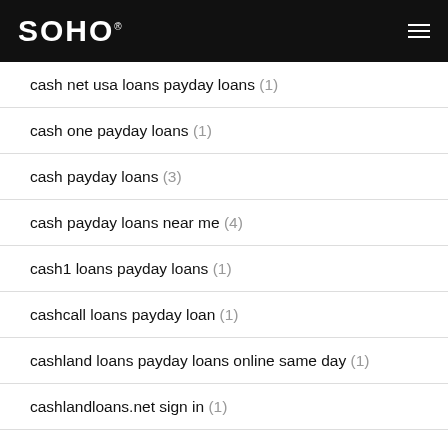SOHO
cash net usa loans payday loans (1)
cash one payday loans (1)
cash payday loans (3)
cash payday loans near me (4)
cash1 loans payday loans (1)
cashcall loans payday loan (1)
cashland loans payday loans online same day (1)
cashlandloans.net sign in (1)